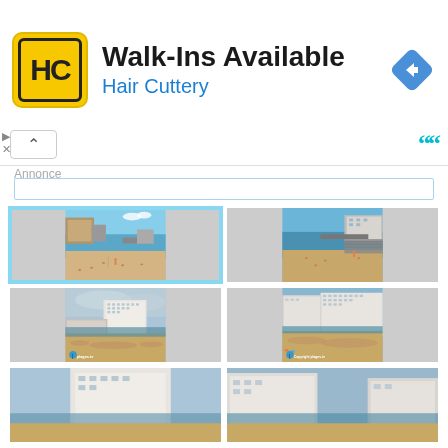[Figure (screenshot): Hair Cuttery advertisement banner with yellow logo showing HC initials, title 'Walk-Ins Available', subtitle 'Hair Cuttery' in blue, and a blue navigation diamond icon on the right. Below: collapse button with caret, quote icon in teal. Side controls with play and X icons. Annonce label and search bar below.]
Annonce
[Figure (photo): Beach scene with people sunbathing and playing volleyball, buildings and dock visible in background, blue sky. Selected/highlighted with cyan border.]
[Figure (photo): Beach scene with people, dock/pier structure, buildings in background, calm blue sea.]
[Figure (photo): Wide beach view with large hotel/apartment building in background, crowd of beachgoers, plages.tv watermark.]
[Figure (photo): Busy beach scene with large hotel buildings, people sunbathing, Copyright plages.tv watermark.]
[Figure (photo): Partial view of beach with building, partially cut off at bottom.]
[Figure (photo): Partial view of beach with buildings, partially cut off at bottom.]